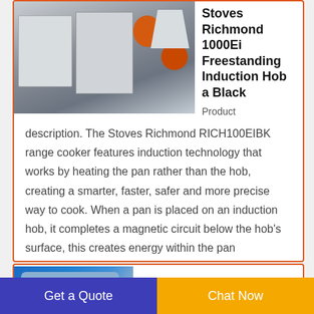[Figure (photo): Industrial machine with gray control panel, orange cylindrical components, hopper, in a warehouse setting]
Stoves Richmond 1000Ei Freestanding Induction Hob a Black
Product description. The Stoves Richmond RICH100EIBK range cooker features induction technology that works by heating the pan rather than the hob, creating a smarter, faster, safer and more precise way to cook. When a pan is placed on an induction hob, it completes a magnetic circuit below the hob's surface, this creates energy within the pan
[Figure (photo): Blue industrial pipes and machinery]
Freestanding
Get a Quote
Chat Now